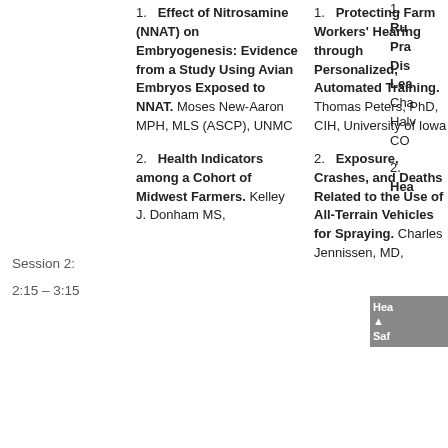Session 2:
2:15 – 3:15
1. Effect of Nitrosamine (NNAT) on Embryogenesis: Evidence from a Study Using Avian Embryos Exposed to NNAT. Moses New-Aaron MPH, MLS (ASCP), UNMC
2. Health Indicators among a Cohort of Midwest Farmers. Kelley J. Donham MS,
1. Protecting Farm Workers' Hearing through Personalized, Automated Training. Thomas Peters, PhD, CIH, University of Iowa
2. Exposure, Crashes, and Deaths Related to the Use of All-Terrain Vehicles for Spraying. Charles Jennissen, MD,
1. Ru... Pra... Dis... Lea... Cha... Halv... CO...
2. Hea... Saf... Stu... Auc... Lein... Iow...